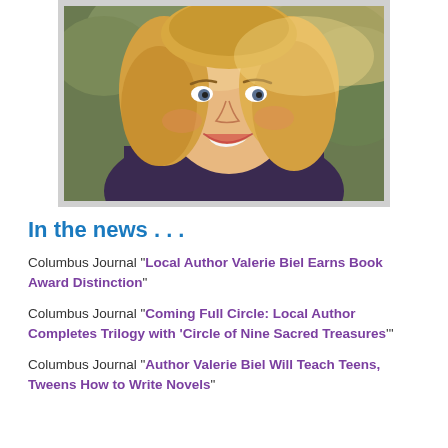[Figure (photo): Portrait photo of a smiling blonde woman outdoors, wearing a dark top, with green foliage in the background. Photo has a light gray border/frame.]
In the news . . .
Columbus Journal “Local Author Valerie Biel Earns Book Award Distinction”
Columbus Journal “Coming Full Circle: Local Author Completes Trilogy with ‘Circle of Nine Sacred Treasures’”
Columbus Journal “Author Valerie Biel Will Teach Teens, Tweens How to Write Novels”